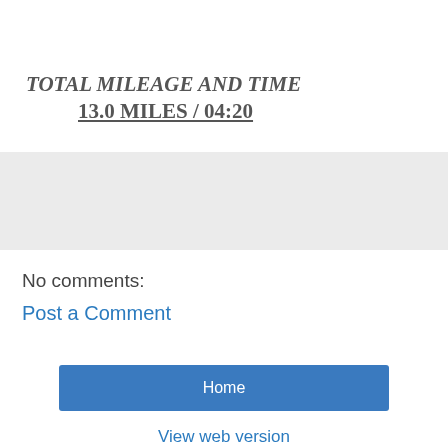TOTAL MILEAGE AND TIME
13.0 MILES / 04:20
[Figure (other): Gray placeholder/ad box]
No comments:
Post a Comment
Home
View web version
Powered by Blogger.